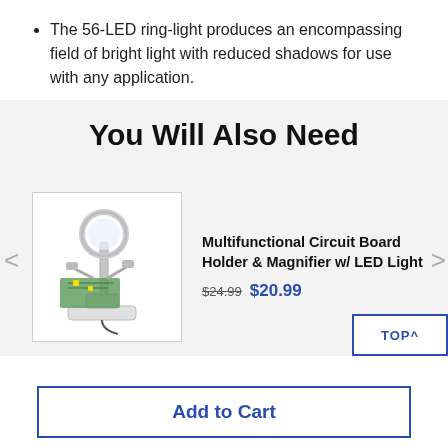The 56-LED ring-light produces an encompassing field of bright light with reduced shadows for use with any application.
You Will Also Need
[Figure (photo): Multifunctional Circuit Board Holder and Magnifier with LED Light product photo showing a white desktop device with magnifying glass, adjustable arms, and circuit board holder.]
Multifunctional Circuit Board Holder & Magnifier w/ LED Light $24.99 $20.99